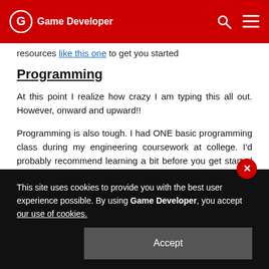Game Developer
resources like this one to get you started
Programming
At this point I realize how crazy I am typing this all out. However, onward and upward!!
Programming is also tough. I had ONE basic programming class during my engineering coursework at college. I'd probably recommend learning a bit before you get started programming a video game. A good starting point might be like
This site uses cookies to provide you with the best user experience possible. By using Game Developer, you accept our use of cookies.